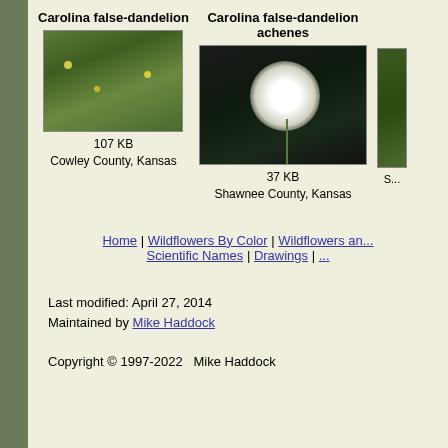[Figure (photo): Carolina false-dandelion plant in grassy field, Cowley County, Kansas, 107 KB]
[Figure (photo): Carolina false-dandelion achenes (dandelion puff seed head against dark background), Shawnee County, Kansas, 37 KB]
[Figure (photo): Partial third photo cropped at right edge, Shawnee County area]
Home | Wildflowers By Color | Wildflowers and... Scientific Names | Drawings |
Last modified: April 27, 2014
Maintained by Mike Haddock
Copyright © 1997-2022   Mike Haddock